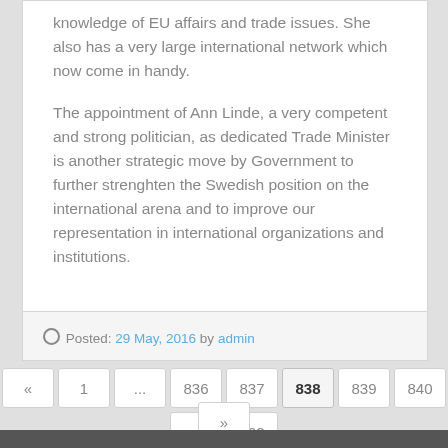knowledge of EU affairs and trade issues. She also has a very large international network which now come in handy.
The appointment of Ann Linde, a very competent and strong politician, as dedicated Trade Minister is another strategic move by Government to further strenghten the Swedish position on the international arena and to improve our representation in international organizations and institutions.
Posted: 29 May, 2016 by admin
« 1 ... 836 837 838 839 840 ... 862 »